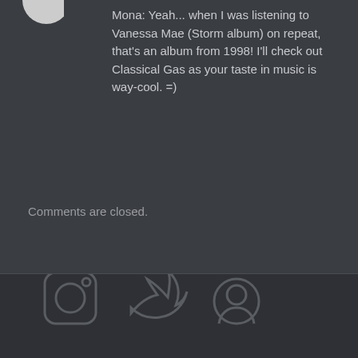Mona: Yeah... when I was listening to Vanessa Mae (Storm album) on repeat, that's an album from 1998! I'll check out Classical Gas as your taste in music is way-cool. =)
Comments are closed.
[Figure (illustration): Social media icons at the bottom: Instagram, Twitter, and another icon partially visible]